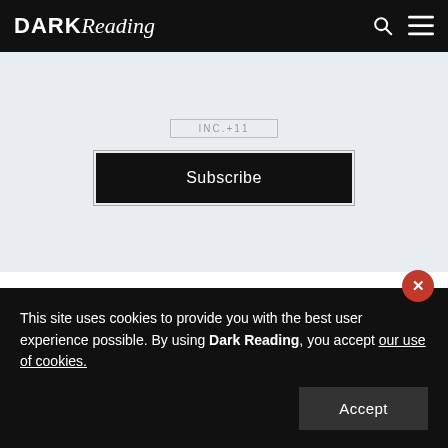DARK Reading
[Figure (screenshot): Subscribe button on light blue background with truncated label text above]
Recommended Content
[Figure (photo): Outdoor photo with facial recognition detection boxes overlaid on people's faces, with a red vertical bar on the right edge]
This site uses cookies to provide you with the best user experience possible. By using Dark Reading, you accept our use of cookies.